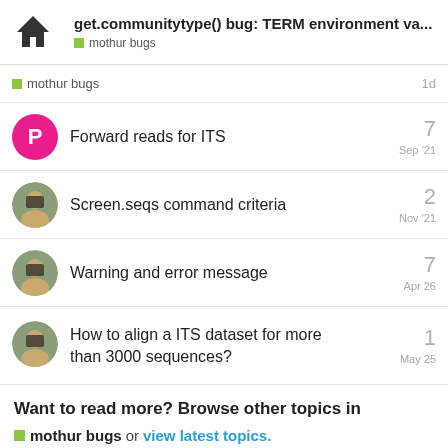get.communitytype() bug: TERM environment va... mothur bugs
mothur bugs — 1d
Forward reads for ITS — 7 — Sep '21
Screen.seqs command criteria — 2 — Nov '21
Warning and error message — 7 — Apr 26
How to align a ITS dataset for more than 3000 sequences? — 1 — May 25
Want to read more? Browse other topics in mothur bugs or view latest topics.